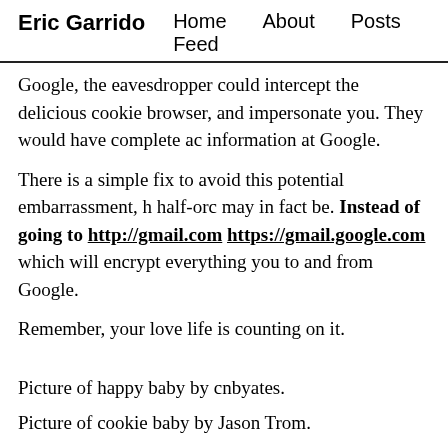Eric Garrido   Home   About   Posts   Feed
Google, the eavesdropper could intercept the delicious cookie browser, and impersonate you. They would have complete ac information at Google.
There is a simple fix to avoid this potential embarrassment, h half-orc may in fact be. Instead of going to http://gmail.com https://gmail.google.com which will encrypt everything you to and from Google.
Remember, your love life is counting on it.
Picture of happy baby by cnbyates.
Picture of cookie baby by Jason Trom.
Picture of Eva Longoria by steature.